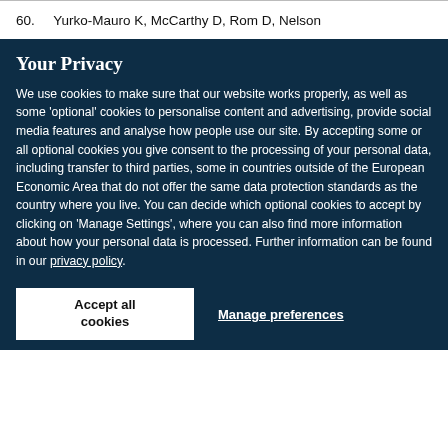60. Yurko-Mauro K, McCarthy D, Rom D, Nelson
Your Privacy
We use cookies to make sure that our website works properly, as well as some 'optional' cookies to personalise content and advertising, provide social media features and analyse how people use our site. By accepting some or all optional cookies you give consent to the processing of your personal data, including transfer to third parties, some in countries outside of the European Economic Area that do not offer the same data protection standards as the country where you live. You can decide which optional cookies to accept by clicking on 'Manage Settings', where you can also find more information about how your personal data is processed. Further information can be found in our privacy policy.
Accept all cookies
Manage preferences